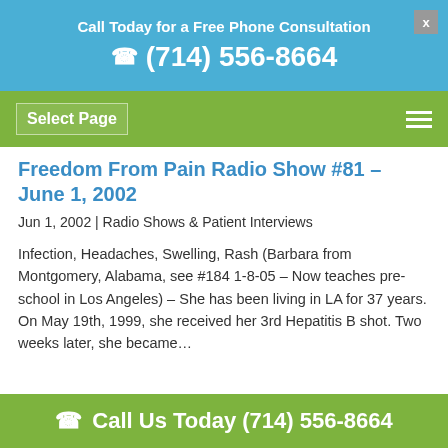Call Today for a Free Phone Consultation
☎ (714) 556-8664
Select Page
Freedom From Pain Radio Show #81 – June 1, 2002
Jun 1, 2002 | Radio Shows & Patient Interviews
Infection, Headaches, Swelling, Rash (Barbara from Montgomery, Alabama, see #184 1-8-05 – Now teaches pre-school in Los Angeles) – She has been living in LA for 37 years. On May 19th, 1999, she received her 3rd Hepatitis B shot. Two weeks later, she became…
☎ Call Us Today (714) 556-8664